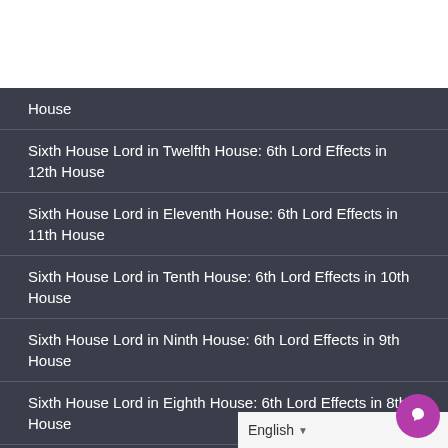[Figure (other): White rectangle image area at top of page]
House
Sixth House Lord in Twelfth House: 6th Lord Effects in 12th House
Sixth House Lord in Eleventh House: 6th Lord Effects in 11th House
Sixth House Lord in Tenth House: 6th Lord Effects in 10th House
Sixth House Lord in Ninth House: 6th Lord Effects in 9th House
Sixth House Lord in Eighth House: 6th Lord Effects in 8th House
Sixth House Lord in Seventh House: 6th Lord Effects in 7th House
Sixth House Lord in Sixth House: 6th Lord Effects in the 6th House
English